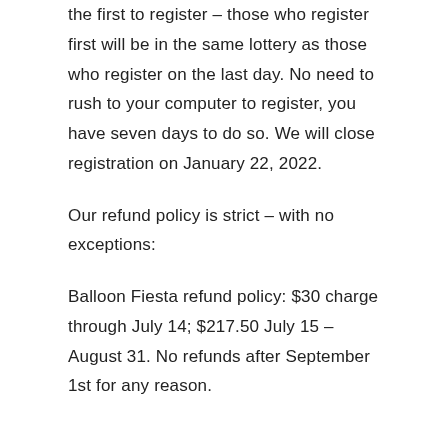the first to register – those who register first will be in the same lottery as those who register on the last day. No need to rush to your computer to register, you have seven days to do so. We will close registration on January 22, 2022.
Our refund policy is strict – with no exceptions:
Balloon Fiesta refund policy: $30 charge through July 14; $217.50 July 15 – August 31. No refunds after September 1st for any reason.